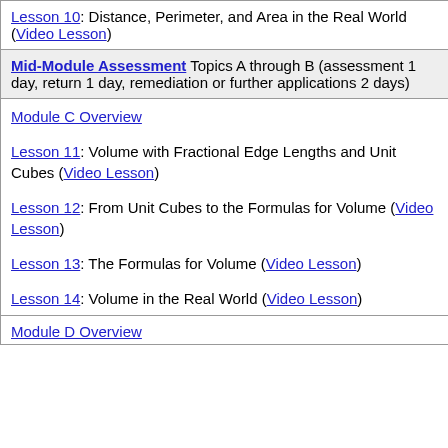Lesson 10: Distance, Perimeter, and Area in the Real World (Video Lesson)
Mid-Module Assessment Topics A through B (assessment 1 day, return 1 day, remediation or further applications 2 days)
Module C Overview

Lesson 11: Volume with Fractional Edge Lengths and Unit Cubes (Video Lesson)

Lesson 12: From Unit Cubes to the Formulas for Volume (Video Lesson)

Lesson 13: The Formulas for Volume (Video Lesson)

Lesson 14: Volume in the Real World (Video Lesson)
Module D Overview